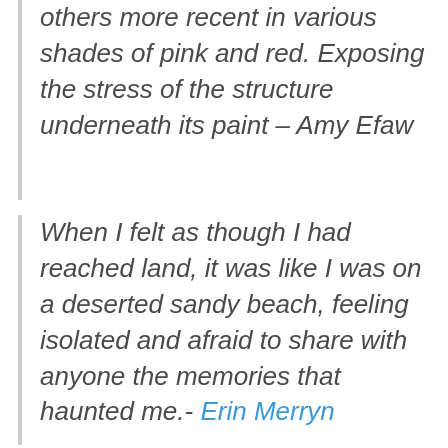others more recent in various shades of pink and red. Exposing the stress of the structure underneath its paint – Amy Efaw
When I felt as though I had reached land, it was like I was on a deserted sandy beach, feeling isolated and afraid to share with anyone the memories that haunted me.- Erin Merryn